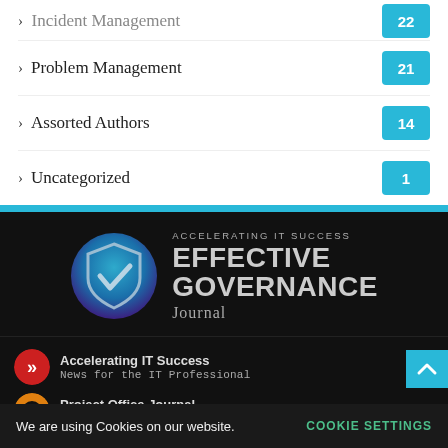Incident Management 22
Problem Management 21
Assorted Authors 14
Uncategorized 1
[Figure (logo): Effective Governance Journal logo with shield icon and text 'ACCELERATING IT SUCCESS EFFECTIVE GOVERNANCE Journal' on dark background]
Accelerating IT Success
News for the IT Professional
Project Office Journal
Prioritize your workflow
We are using Cookies on our website.
COOKIE SETTINGS